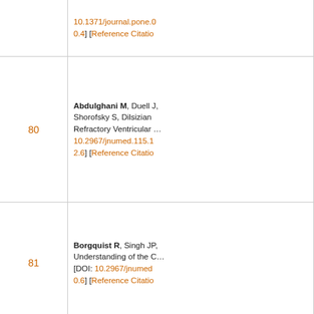| Number | Reference |
| --- | --- |
|  | 10.1371/journal.pone.… 0.4] [Reference Citatio… |
| 80 | Abdulghani M, Duell J, Shorofsky S, Dilsizian … Refractory Ventricular … 10.2967/jnumed.115.1… 2.6] [Reference Citatio… |
| 81 | Borgquist R, Singh JP, Understanding of the C… [DOI: 10.2967/jnumed… 0.6] [Reference Citatio… |
| 82 | Travin MI. It's not all i… 0105-8] [Cited by in Cr… |
| 83 | Clements IP, Garcia M… metaiodobenzylguanid… Development and vali… perfusion SPECT. J Nu… Crossref: 21] [Cited by… |
| 84 | Asghar O, Arumugam… tolerance demonstrate… 2015;22:1262-8. [PMID… F6Publishing: 3] [Articl… |
|  | Chen X, Werner RA… |